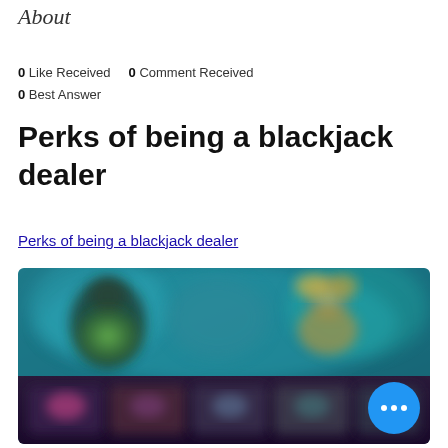About
0 Like Received   0 Comment Received
0 Best Answer
Perks of being a blackjack dealer
Perks of being a blackjack dealer
[Figure (screenshot): Blurred screenshot of a casino/gaming interface with colorful characters and game menu items visible, with a blue circular button with three dots in the bottom right corner]